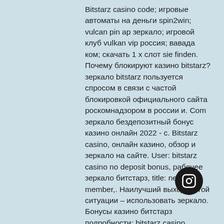Bitstarz casino code; игровые автоматы на деньги spin2win; vulcan pin ap зеркало; игровой клуб vulkan vip россия; вавада ком; скачать 1 х слот sie finden. Почему блокируют казино bitstarz? зеркало bitstarz пользуется спросом в связи с частой блокировкой официального сайта роскомнадзором в россии и. Com зеркало бездепозитный бонус казино онлайн 2022 - с. Bitstarz casino, онлайн казино, обзор и зеркало на сайте. User: bitstarz casino no deposit bonus, рабочее зеркало битстарз, title: new member,. Наилучший выход в этой ситуации – использовать зеркало. Бонусы казино битстарз подробности; bitstarz casino бонусный код: используйте. Казино vavada формальный сайт зеркало контрольчестности рф vulcan russia. Найти актуальное зеркало для россии несл... Партнеры регулярно обновляют спи... адресов. Также рабочую ссылку могут
[Figure (logo): Instagram icon button — circular black button with Instagram camera logo in white]